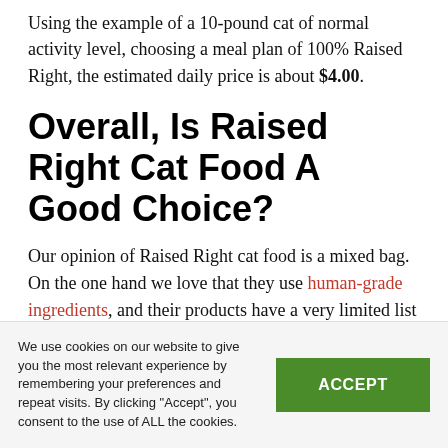Using the example of a 10-pound cat of normal activity level, choosing a meal plan of 100% Raised Right, the estimated daily price is about $4.00.
Overall, Is Raised Right Cat Food A Good Choice?
Our opinion of Raised Right cat food is a mixed bag. On the one hand we love that they use human-grade ingredients, and their products have a very limited list of ingredients. We also appreciate that
We use cookies on our website to give you the most relevant experience by remembering your preferences and repeat visits. By clicking "Accept", you consent to the use of ALL the cookies.